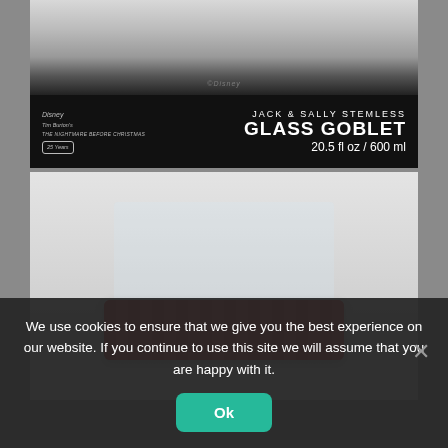[Figure (photo): Close-up photo of a Jack & Sally Stemless Glass Goblet product packaging. The top portion shows a clear glass goblet with illustrated characters. The label on the packaging reads: Disney Tim Burton's The Nightmare Before Christmas 25 Years, JACK & SALLY STEMLESS GLASS GOBLET, 20.5 fl oz / 600 ml]
[Figure (photo): Photo showing the bottom/base of the same glass goblet product in its red packaging insert, viewed from the side against a light gray background]
We use cookies to ensure that we give you the best experience on our website. If you continue to use this site we will assume that you are happy with it.